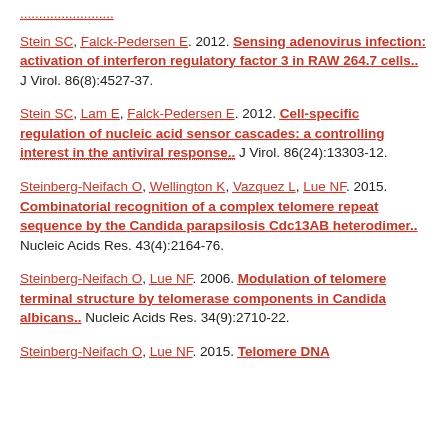Stein SC, Falck-Pedersen E. 2012. Sensing adenovirus infection: activation of interferon regulatory factor 3 in RAW 264.7 cells.. J Virol. 86(8):4527-37.
Stein SC, Lam E, Falck-Pedersen E. 2012. Cell-specific regulation of nucleic acid sensor cascades: a controlling interest in the antiviral response.. J Virol. 86(24):13303-12.
Steinberg-Neifach O, Wellington K, Vazquez L, Lue NF. 2015. Combinatorial recognition of a complex telomere repeat sequence by the Candida parapsilosis Cdc13AB heterodimer.. Nucleic Acids Res. 43(4):2164-76.
Steinberg-Neifach O, Lue NF. 2006. Modulation of telomere terminal structure by telomerase components in Candida albicans.. Nucleic Acids Res. 34(9):2710-22.
Steinberg-Neifach O, Lue NF. 2015. Telomere DNA...